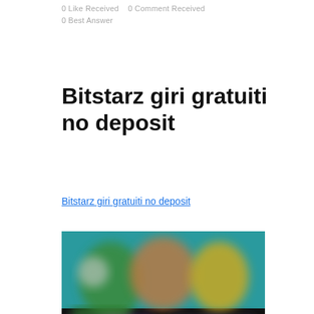0 Like Received   0 Comment Received
0 Best Answer
Bitstarz giri gratuiti no deposit
Bitstarz giri gratuiti no deposit
[Figure (screenshot): Blurred screenshot of a gaming or casino website showing colorful game thumbnails with characters on a teal/dark background.]